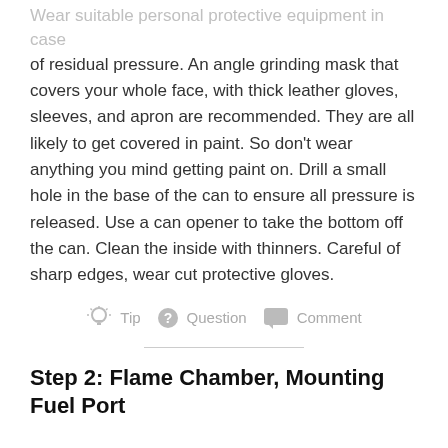Wear suitable personal protective equipment in case
of residual pressure. An angle grinding mask that covers your whole face, with thick leather gloves, sleeves, and apron are recommended. They are all likely to get covered in paint. So don't wear anything you mind getting paint on. Drill a small hole in the base of the can to ensure all pressure is released. Use a can opener to take the bottom off the can. Clean the inside with thinners. Careful of sharp edges, wear cut protective gloves.
Tip  Question  Comment
Step 2: Flame Chamber, Mounting Fuel Port